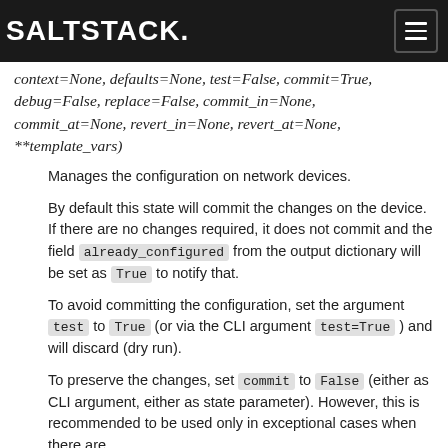SALTSTACK
context=None, defaults=None, test=False, commit=True, debug=False, replace=False, commit_in=None, commit_at=None, revert_in=None, revert_at=None, **template_vars)
Manages the configuration on network devices.
By default this state will commit the changes on the device. If there are no changes required, it does not commit and the field already_configured from the output dictionary will be set as True to notify that.
To avoid committing the configuration, set the argument test to True (or via the CLI argument test=True ) and will discard (dry run).
To preserve the changes, set commit to False (either as CLI argument, either as state parameter). However, this is recommended to be used only in exceptional cases when there are